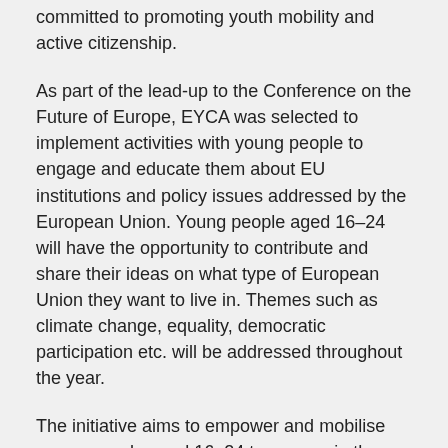committed to promoting youth mobility and active citizenship.
As part of the lead-up to the Conference on the Future of Europe, EYCA was selected to implement activities with young people to engage and educate them about EU institutions and policy issues addressed by the European Union. Young people aged 16–24 will have the opportunity to contribute and share their ideas on what type of European Union they want to live in. Themes such as climate change, equality, democratic participation etc. will be addressed throughout the year.
The initiative aims to empower and mobilise young people aged 16–24 to engage in the Conference on Future of Europe by offering a platform to make their voice heard on issues they care about and want to see as part of the public agenda of the European Union. This project is funded by the European Union.